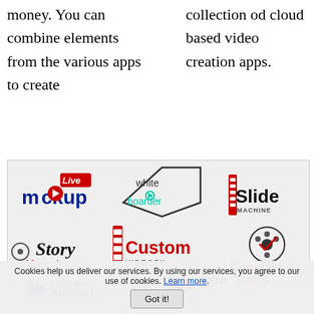money. You can combine elements from the various apps to create
collection od cloud based video creation apps.
[Figure (illustration): Grid of cloud-based video creation app logos: mockup Live, white boarder, Slide Machine, Story Monarch, Custom VideoFX, CoverPro, Video Ads Architect, Intro Outro]
Cookies help us deliver our services. By using our services, you agree to our use of cookies. Learn more. Got it!